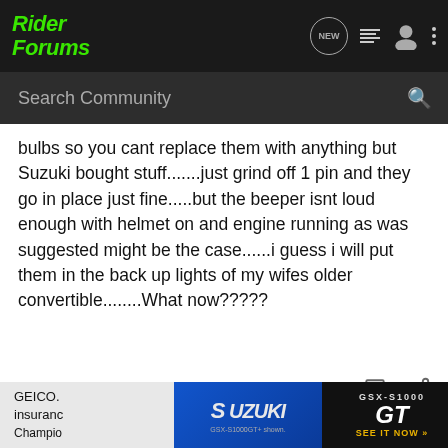Rider Forums
bulbs so you cant replace them with anything but Suzuki bought stuff.......just grind off 1 pin and they go in place just fine.....but the beeper isnt loud enough with helmet on and engine running as was suggested might be the case......i guess i will put them in the back up lights of my wifes older convertible........What now?????
GEICO Moto Insurance
Ad
GEICO. insurance Champic